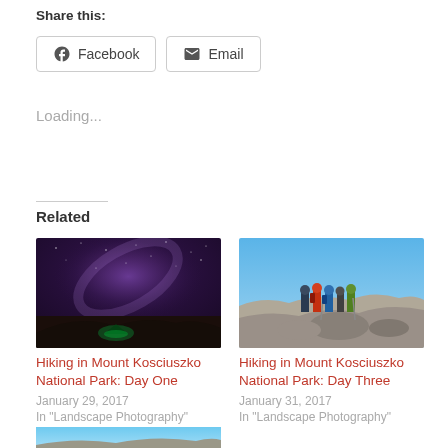Share this:
[Figure (other): Share buttons for Facebook and Email]
Loading...
Related
[Figure (photo): Night sky with Milky Way and a green tent glowing below]
Hiking in Mount Kosciuszko National Park: Day One
January 29, 2017
In "Landscape Photography"
[Figure (photo): Group of hikers standing on rocky mountain summit under blue sky]
Hiking in Mount Kosciuszko National Park: Day Three
January 31, 2017
In "Landscape Photography"